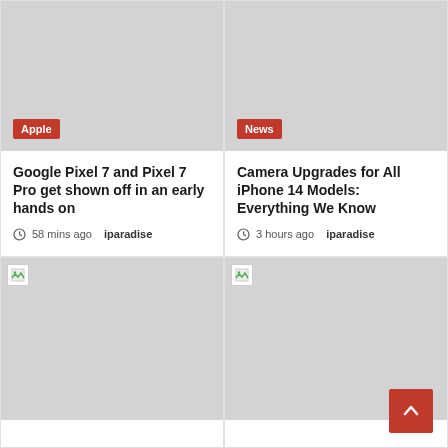[Figure (photo): Gray placeholder image with Apple category tag]
Apple
Google Pixel 7 and Pixel 7 Pro get shown off in an early hands on
58 mins ago  iparadise
[Figure (photo): Gray placeholder image with News category tag]
News
Camera Upgrades for All iPhone 14 Models: Everything We Know
3 hours ago  iparadise
[Figure (photo): Broken image placeholder (gray background, lower-left card)]
[Figure (photo): Broken image placeholder (gray background, lower-right card)]